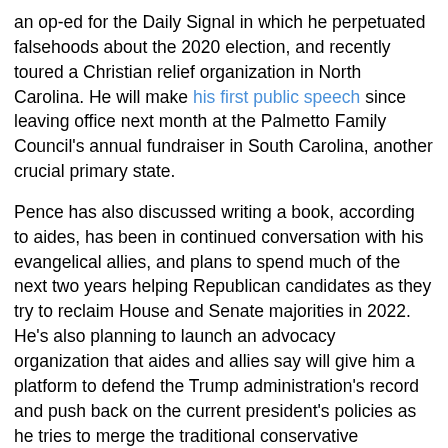an op-ed for the Daily Signal in which he perpetuated falsehoods about the 2020 election, and recently toured a Christian relief organization in North Carolina. He will make his first public speech since leaving office next month at the Palmetto Family Council's annual fundraiser in South Carolina, another crucial primary state.
Pence has also discussed writing a book, according to aides, has been in continued conversation with his evangelical allies, and plans to spend much of the next two years helping Republican candidates as they try to reclaim House and Senate majorities in 2022. He’s also planning to launch an advocacy organization that aides and allies say will give him a platform to defend the Trump administration’s record and push back on the current president’s policies as he tries to merge the traditional conservative movement with Trumpism.
“He’s doing what he needs to be doing to lay the groundwork in the event he wants to set up an exploratory committee,” Stewart said. “You have to make money, lay the groundwork, gauge the support and then